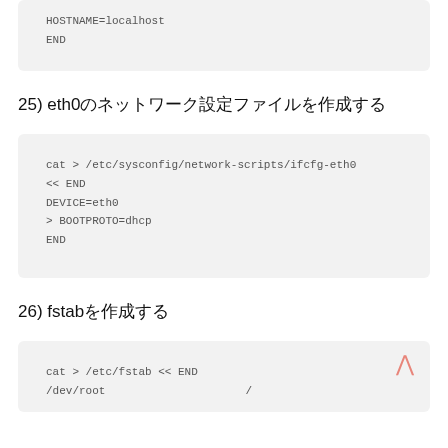HOSTNAME=localhost
END
25) eth0のネットワーク設定ファイルを作成する
cat > /etc/sysconfig/network-scripts/ifcfg-eth0 << END
DEVICE=eth0
ONBOOT=yes
BOOTPROTO=dhcp
END
26) fstabを作成する
cat > /etc/fstab << END
/dev/root /